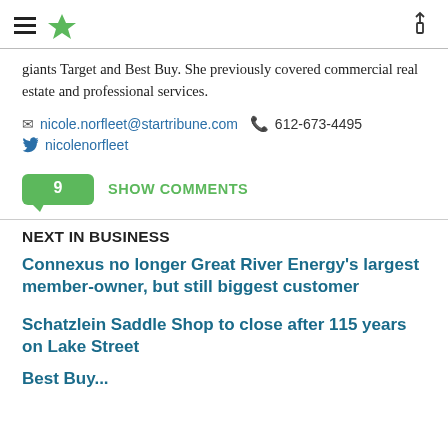Star Tribune header navigation
giants Target and Best Buy. She previously covered commercial real estate and professional services.
nicole.norfleet@startribune.com  612-673-4495  nicolenorfleet
9  SHOW COMMENTS
NEXT IN BUSINESS
Connexus no longer Great River Energy's largest member-owner, but still biggest customer
Schatzlein Saddle Shop to close after 115 years on Lake Street
Best Buy...